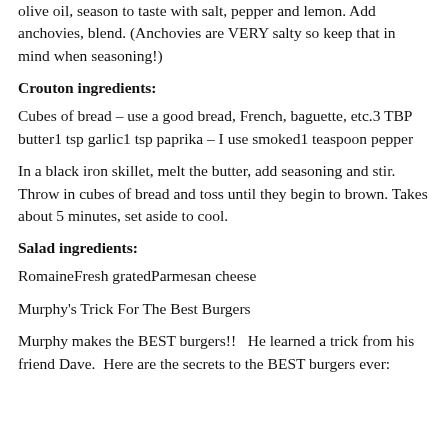olive oil, season to taste with salt, pepper and lemon. Add anchovies, blend. (Anchovies are VERY salty so keep that in mind when seasoning!)
Crouton ingredients:
Cubes of bread – use a good bread, French, baguette, etc.3 TBP butter1 tsp garlic1 tsp paprika – I use smoked1 teaspoon pepper
In a black iron skillet, melt the butter, add seasoning and stir. Throw in cubes of bread and toss until they begin to brown. Takes about 5 minutes, set aside to cool.
Salad ingredients:
RomaineFresh gratedParmesan cheese
Murphy's Trick For The Best Burgers
Murphy makes the BEST burgers!!   He learned a trick from his friend Dave.  Here are the secrets to the BEST burgers ever: